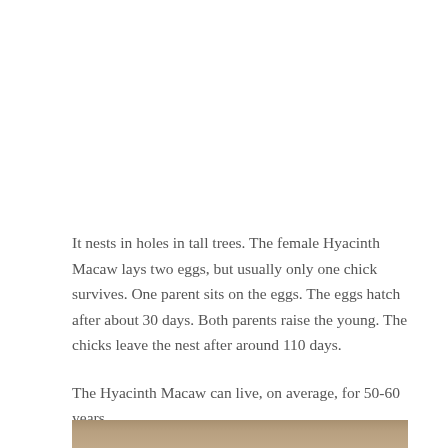It nests in holes in tall trees. The female Hyacinth Macaw lays two eggs, but usually only one chick survives. One parent sits on the eggs. The eggs hatch after about 30 days. Both parents raise the young. The chicks leave the nest after around 110 days.
The Hyacinth Macaw can live, on average, for 50-60 years.
[Figure (photo): Bottom portion of a photograph showing what appears to be a Hyacinth Macaw, partially visible at the bottom edge of the page.]